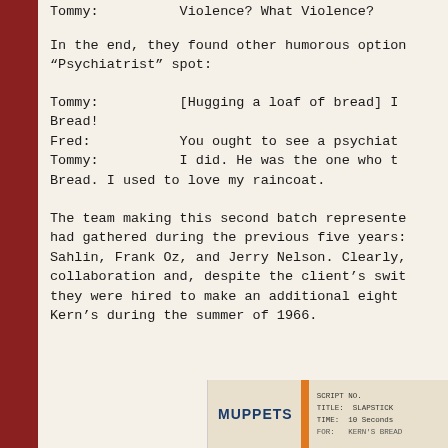Tommy:          Violence? What Violence?
In the end, they found other humorous options for the "Psychiatrist" spot:
Tommy:          [Hugging a loaf of bread] I Love Bread!
Fred:           You ought to see a psychiatrist.
Tommy:          I did. He was the one who told me to Love Bread. I used to love my raincoat.
The team making this second batch represented the talent Henson had gathered during the previous five years: Jim Henson, Don Sahlin, Frank Oz, and Jerry Nelson. Clearly, it was a successful collaboration and, despite the client's switch to another agency, they were hired to make an additional eight commercials for Kern's during the summer of 1966.
[Figure (photo): Muppets script document with orange binding strip. Shows SCRIPT NO., TITLE: SLAPSTICK, TIME: 10 Seconds, and KERN'S BREAD text.]